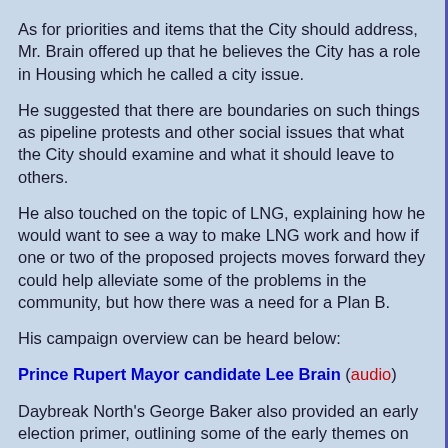As for priorities and items that the City should address, Mr. Brain offered up that he believes the City has a role in Housing which he called a city issue.
He suggested that there are boundaries on such things as pipeline protests and other social issues that what the City should examine and what it should leave to others.
He also touched on the topic of LNG, explaining how he would want to see a way to make LNG work and how if one or two of the proposed projects moves forward they could help alleviate some of the problems in the community, but how there was a need for a Plan B.
His campaign overview can be heard below:
Prince Rupert Mayor candidate Lee Brain (audio)
Daybreak North's George Baker also provided an early election primer, outlining some of the early themes on the way to the November 15th vote.